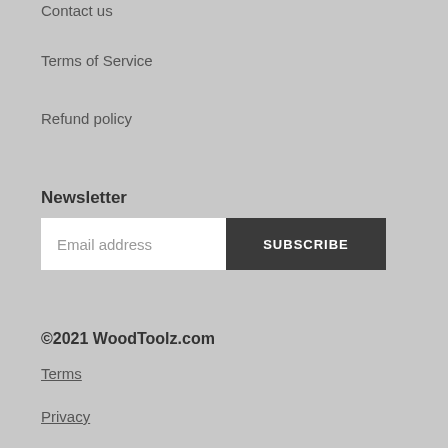Contact us
Terms of Service
Refund policy
Newsletter
Email address
SUBSCRIBE
©2021 WoodToolz.com
Terms
Privacy